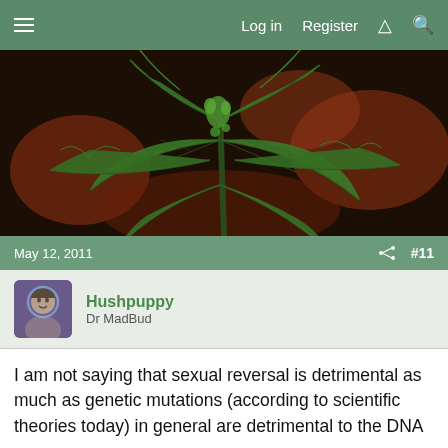Log in  Register
[Figure (photo): Close-up photograph of a cannabis plant with dark green serrated leaves and budding flowers against a reddish-brown background]
May 12, 2011  #11
Hushpuppy
Dr MadBud
I am not saying that sexual reversal is detrimental as much as genetic mutations (according to scientific theories today) in general are detrimental to the DNA